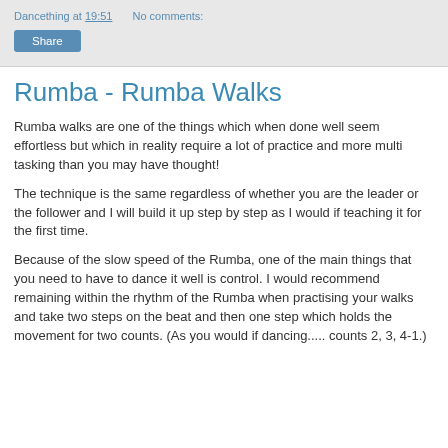Dancething at 19:51   No comments:
Share
Rumba - Rumba Walks
Rumba walks are one of the things which when done well seem effortless but which in reality require a lot of practice and more multi tasking than you may have thought!
The technique is the same regardless of whether you are the leader or the follower and I will build it up step by step as I would if teaching it for the first time.
Because of the slow speed of the Rumba, one of the main things that you need to have to dance it well is control. I would recommend remaining within the rhythm of the Rumba when practising your walks and take two steps on the beat and then one step which holds the movement for two counts. (As you would if dancing..... counts 2, 3, 4-1.)